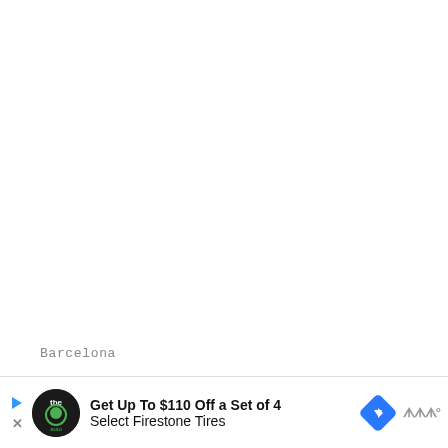[Figure (photo): Large white/blank image area occupying the top two-thirds of the page]
Barcelona
Just 30 minutes from the beating heart of Barcelona, Mediterranean re...g
[Figure (other): Advertisement banner: Get Up To $110 Off a Set of 4 Select Firestone Tires, with The Auto logo and directional arrow icon]